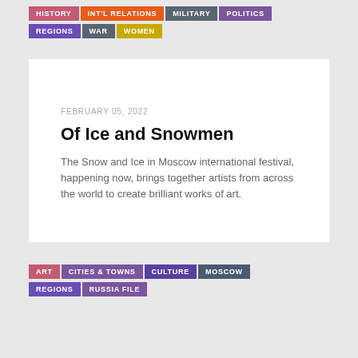HISTORY
INT'L RELATIONS
MILITARY
POLITICS
REGIONS
WAR
WOMEN
FEBRUARY 05, 2022
Of Ice and Snowmen
The Snow and Ice in Moscow international festival, happening now, brings together artists from across the world to create brilliant works of art.
ART
CITIES & TOWNS
CULTURE
MOSCOW
REGIONS
RUSSIA FILE